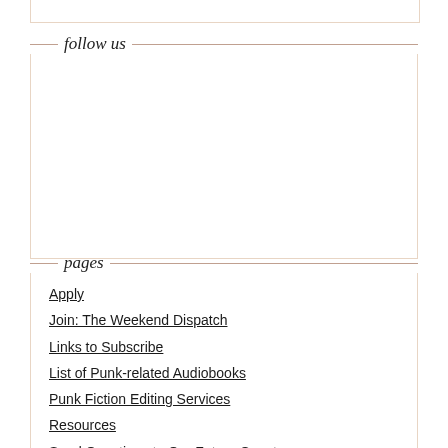follow us
pages
Apply
Join: The Weekend Dispatch
Links to Subscribe
List of Punk-related Audiobooks
Punk Fiction Editing Services
Resources
Send Questions to Our Future Guests
Storypunks Salon and Reading Room
Survey